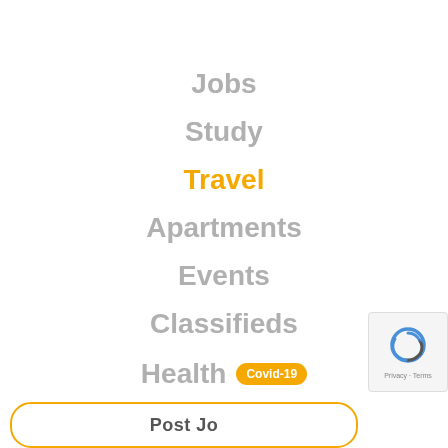Jobs
Study
Travel
Apartments
Events
Classifieds
Health Covid-19
Blog
[Figure (logo): reCAPTCHA logo with Privacy and Terms text]
Post Jobs